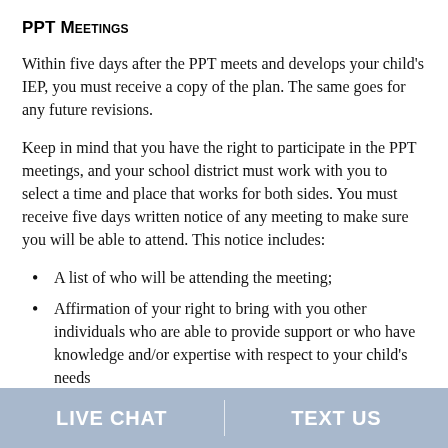PPT Meetings
Within five days after the PPT meets and develops your child's IEP, you must receive a copy of the plan. The same goes for any future revisions.
Keep in mind that you have the right to participate in the PPT meetings, and your school district must work with you to select a time and place that works for both sides. You must receive five days written notice of any meeting to make sure you will be able to attend. This notice includes:
A list of who will be attending the meeting;
Affirmation of your right to bring with you other individuals who are able to provide support or who have knowledge and/or expertise with respect to your child's needs
LIVE CHAT | TEXT US